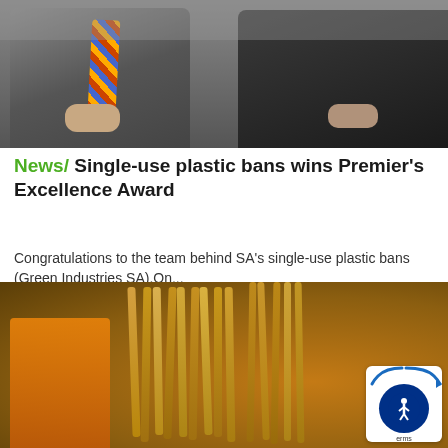[Figure (photo): Two men in business attire sitting, one wearing a grey suit with a striped tie, the other in dark clothing, photographed in an office setting]
News/ Single-use plastic bans wins Premier's Excellence Award
Congratulations to the team behind SA's single-use plastic bans (Green Industries SA).On...
[Figure (photo): Close-up of bamboo/paper drinking straws in a holder with orange packaging in the background, warm blurred bokeh background]